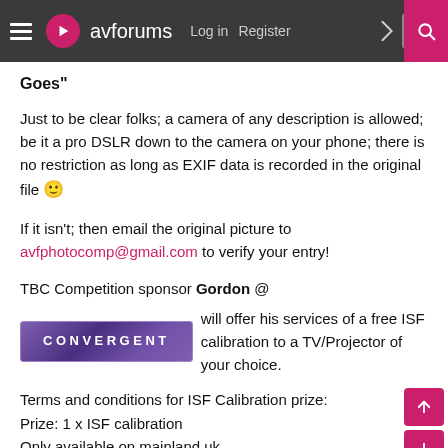avforums — Log in | Register
Goes"
Just to be clear folks; a camera of any description is allowed; be it a pro DSLR down to the camera on your phone; there is no restriction as long as EXIF data is recorded in the original file 🙂
If it isn't; then email the original picture to avfphotocomp@gmail.com to verify your entry!
TBC Competition sponsor Gordon @ [CONVERGENT logo] will offer his services of a free ISF calibration to a TV/Projector of your choice.
Terms and conditions for ISF Calibration prize:
Prize: 1 x ISF calibration
Only available on mainland uk
Calibration will be done when Convergent are already in your area
There is no cash alternative